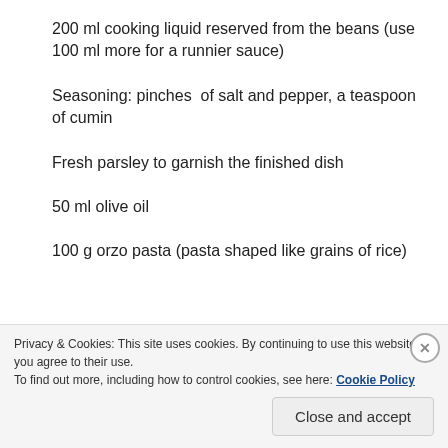200 ml cooking liquid reserved from the beans (use 100 ml more for a runnier sauce)
Seasoning: pinches  of salt and pepper, a teaspoon of cumin
Fresh parsley to garnish the finished dish
50 ml olive oil
100 g orzo pasta (pasta shaped like grains of rice)
300 g washed rice
Privacy & Cookies: This site uses cookies. By continuing to use this website, you agree to their use.
To find out more, including how to control cookies, see here: Cookie Policy
Close and accept